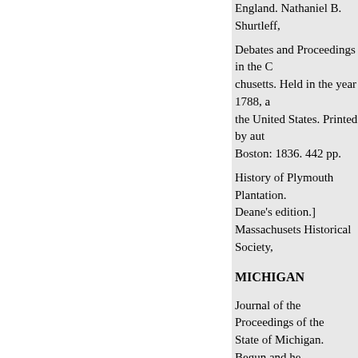England. Nathaniel B. Shurtleff,
Debates and Proceedings in the Convention of the Commonwealth of Massachusetts. Held in the year 1788, and which finally ratified the Constitution of the United States. Printed by authority of the Commonwealth. Boston: 1836. 442 pp.
History of Plymouth Plantation. [Bradford-Davis-Deane's edition.] Massachusets Historical Society,
MICHIGAN
Journal of the Proceedings of the Constitutional Convention of the State of Michigan. Begun and held at the Capitol of the State, on the second day of May, A. D. 1835. Printed by order of the Convention. 224 pp. Index.
Journal of the Convention (of Michigan) for the Assent or Dissent to the Admission of Michigan into the Union.
Journal of the Convention (of Michigan) to Give the Assent Required by Act of Congress for the Admission of Michigan. 20 pp.
Report of the Proceedings and Debates in the Convention to Revise the Constitution of the State of Michigan,